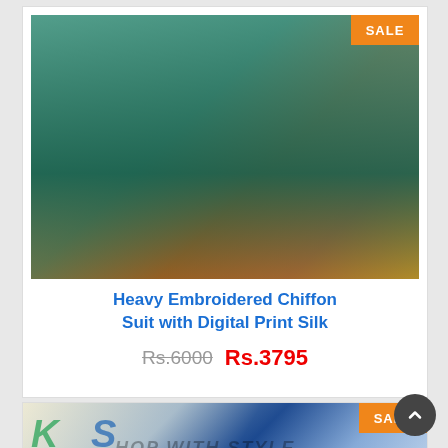[Figure (photo): Product photo of a heavy embroidered teal/green chiffon suit with digital print silk dupatta in pink and blue, displayed on a mannequin in an ornate setting. Orange SALE badge in top-right corner.]
Heavy Embroidered Chiffon Suit with Digital Print Silk
Rs.6000  Rs.3795
[Figure (photo): Product photo showing folded blue and cream fabric with embroidery/embellishments, shop branding visible. Orange SALE badge in top-right corner.]